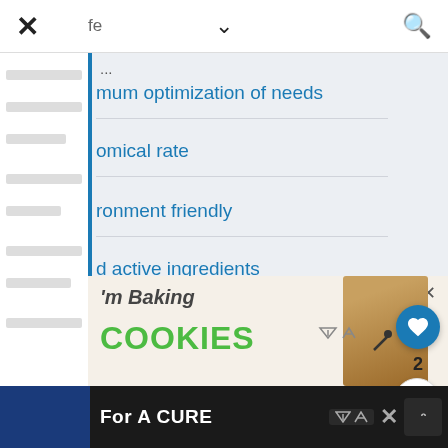× fe ∨ 🔍
mum optimization of needs
omical rate
ronment friendly
d active ingredients
[Figure (screenshot): Ad banner showing 'I'm Baking COOKIES' with a person image, and close button]
For A CURE — bottom navigation bar with ad indicators and X close button